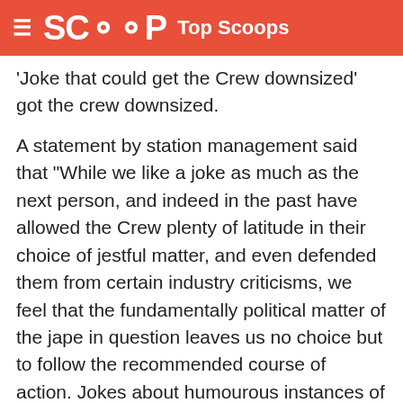≡ SCOOP Top Scoops
'Joke that could get the Crew downsized' got the crew downsized.
A statement by station management said that "While we like a joke as much as the next person, and indeed in the past have allowed the Crew plenty of latitude in their choice of jestful matter, and even defended them from certain industry criticisms, we feel that the fundamentally political matter of the jape in question leaves us no choice but to follow the recommended course of action. Jokes about humourous instances of fellatio are one thing; jokes that might cause a person to sit up from working like a busy little bee and question the nature and validity of their socio-political